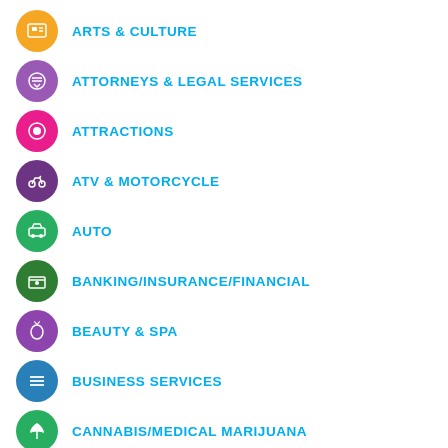ARTS & CULTURE
ATTORNEYS & LEGAL SERVICES
ATTRACTIONS
ATV & MOTORCYCLE
AUTO
BANKING/INSURANCE/FINANCIAL
BEAUTY & SPA
BUSINESS SERVICES
CANNABIS/MEDICAL MARIJUANA
DINE & SIP
EDUCATION